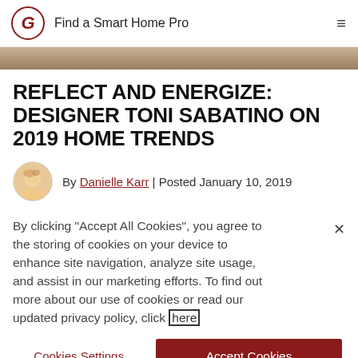Find a Smart Home Pro
[Figure (photo): Partial hero image strip showing a person, cropped at top of page]
REFLECT AND ENERGIZE: DESIGNER TONI SABATINO ON 2019 HOME TRENDS
By Danielle Karr | Posted January 10, 2019
By clicking "Accept All Cookies", you agree to the storing of cookies on your device to enhance site navigation, analyze site usage, and assist in our marketing efforts. To find out more about our use of cookies or read our updated privacy policy, click here
Cookies Settings
Accept Cookies